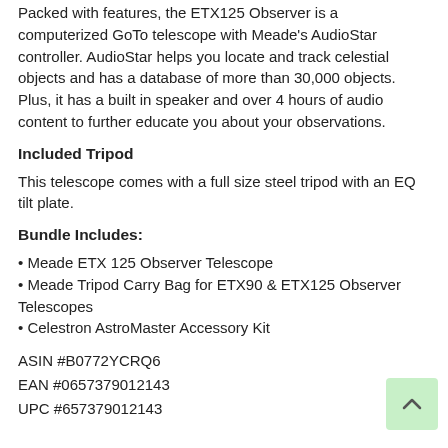Packed with features, the ETX125 Observer is a computerized GoTo telescope with Meade's AudioStar controller. AudioStar helps you locate and track celestial objects and has a database of more than 30,000 objects. Plus, it has a built in speaker and over 4 hours of audio content to further educate you about your observations.
Included Tripod
This telescope comes with a full size steel tripod with an EQ tilt plate.
Bundle Includes:
• Meade ETX 125 Observer Telescope
• Meade Tripod Carry Bag for ETX90 & ETX125 Observer Telescopes
• Celestron AstroMaster Accessory Kit
ASIN #B0772YCRQ6
EAN #0657379012143
UPC #657379012143